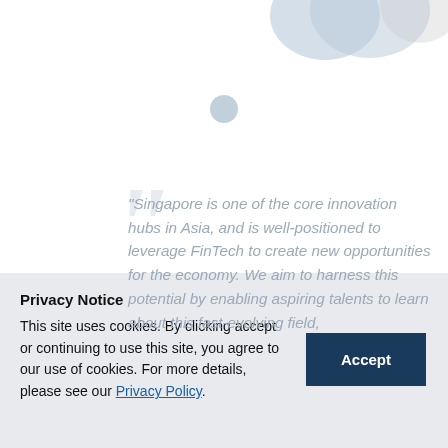[Figure (photo): Partial photo of a person visible at top right, with decorative blue-grey circles as design elements]
“Singapore is one of the core innovation hubs in Asia, and is well-positioned to leverage FinTech to create new opportunities for the economy. We aim to harness this potential by enabling aspiring talents to learn about this fast-evolving field,
Privacy Notice
This site uses cookies. By clicking accept or continuing to use this site, you agree to our use of cookies. For more details, please see our Privacy Policy.